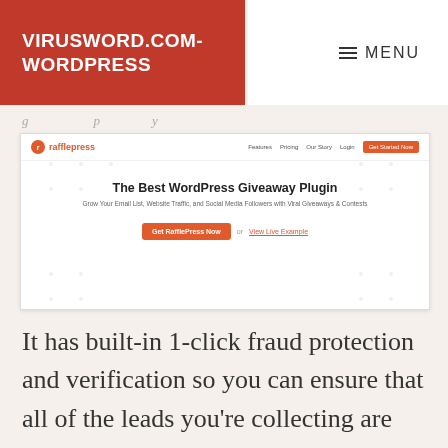VIRUSWORD.COM-WORDPRESS
≡ MENU
[Figure (screenshot): RafflePress website screenshot showing headline 'The Best WordPress Giveaway Plugin', subheadline 'Grow Your Email List, Website Traffic, and Social Media Followers with Viral Giveaways & Contests', and 'Get RafflePress Now' button with 'or View Live Example' link]
It has built-in 1-click fraud protection and verification so you can ensure that all of the leads you're collecting are real.